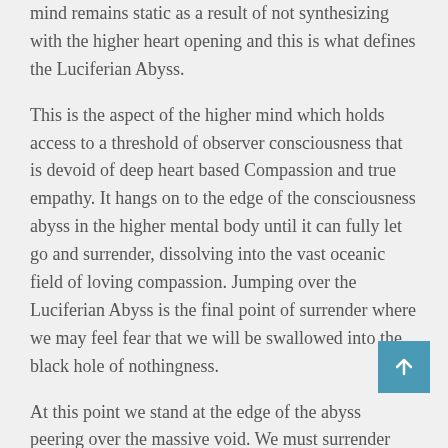mind remains static as a result of not synthesizing with the higher heart opening and this is what defines the Luciferian Abyss.
This is the aspect of the higher mind which holds access to a threshold of observer consciousness that is devoid of deep heart based Compassion and true empathy. It hangs on to the edge of the consciousness abyss in the higher mental body until it can fully let go and surrender, dissolving into the vast oceanic field of loving compassion. Jumping over the Luciferian Abyss is the final point of surrender where we may feel fear that we will be swallowed into the black hole of nothingness.
At this point we stand at the edge of the abyss peering over the massive void. We must surrender